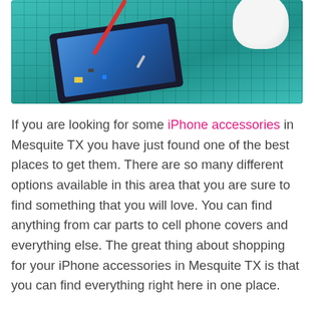[Figure (photo): Close-up photo of a person in white gloves using a soldering iron on an open smartphone circuit board, placed on a green cutting mat.]
If you are looking for some iPhone accessories in Mesquite TX you have just found one of the best places to get them. There are so many different options available in this area that you are sure to find something that you will love. You can find anything from car parts to cell phone covers and everything else. The great thing about shopping for your iPhone accessories in Mesquite TX is that you can find everything right here in one place.